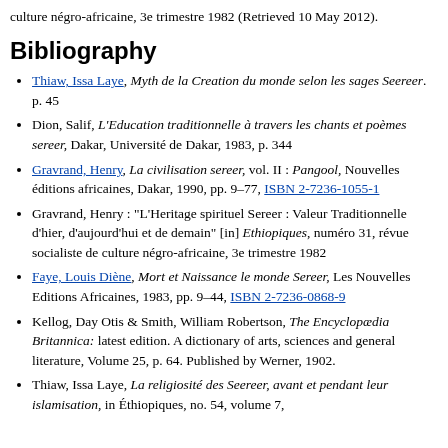culture négro-africaine, 3e trimestre 1982 (Retrieved 10 May 2012).
Bibliography
Thiaw, Issa Laye, Myth de la Creation du monde selon les sages Seereer. p. 45
Dion, Salif, L'Education traditionnelle à travers les chants et poèmes sereer, Dakar, Université de Dakar, 1983, p. 344
Gravrand, Henry, La civilisation sereer, vol. II : Pangool, Nouvelles éditions africaines, Dakar, 1990, pp. 9–77, ISBN 2-7236-1055-1
Gravrand, Henry : "L'Heritage spirituel Sereer : Valeur Traditionnelle d'hier, d'aujourd'hui et de demain" [in] Ethiopiques, numéro 31, révue socialiste de culture négro-africaine, 3e trimestre 1982
Faye, Louis Diène, Mort et Naissance le monde Sereer, Les Nouvelles Editions Africaines, 1983, pp. 9–44, ISBN 2-7236-0868-9
Kellog, Day Otis & Smith, William Robertson, The Encyclopædia Britannica: latest edition. A dictionary of arts, sciences and general literature, Volume 25, p. 64. Published by Werner, 1902.
Thiaw, Issa Laye, La religiosité des Seereer, avant et pendant leur islamisation, in Éthiopiques, no. 54, volume 7,